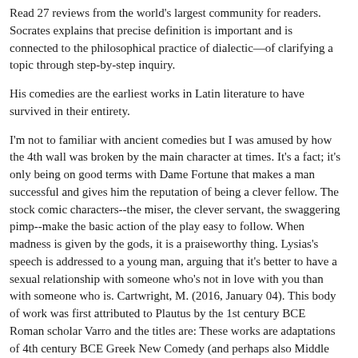Read 27 reviews from the world's largest community for readers. Socrates explains that precise definition is important and is connected to the philosophical practice of dialectic—of clarifying a topic through step-by-step inquiry.
His comedies are the earliest works in Latin literature to have survived in their entirety.
I'm not to familiar with ancient comedies but I was amused by how the 4th wall was broken by the main character at times. It's a fact; it's only being on good terms with Dame Fortune that makes a man successful and gives him the reputation of being a clever fellow. The stock comic characters--the miser, the clever servant, the swaggering pimp--make the basic action of the play easy to follow. When madness is given by the gods, it is a praiseworthy thing. Lysias's speech is addressed to a young man, arguing that it's better to have a sexual relationship with someone who's not in love with you than with someone who is. Cartwright, M. (2016, January 04). This body of work was first attributed to Plautus by the 1st century BCE Roman scholar Varro and the titles are: These works are adaptations of 4th century BCE Greek New Comedy (and perhaps also Middle Comedy) plays with some Latin Comedy additions such as mime and bawdy jokes. This was the fourth play I read by Plautus and I start to feel like some are kind of repetitive.